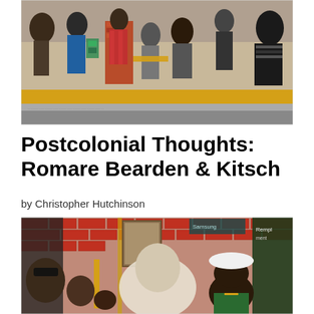[Figure (photo): Romare Bearden collage artwork showing multiple figures, people of various ages, brick walls, and urban scene fragments arranged in a panoramic horizontal collage with yellow, grey, and muted color tones.]
Postcolonial Thoughts: Romare Bearden & Kitsch
by Christopher Hutchinson
[Figure (photo): Second Romare Bearden collage artwork showing figures in an urban setting with red brick wall, people's faces and bodies collaged together, one figure wearing a white hat, green and red accents visible.]